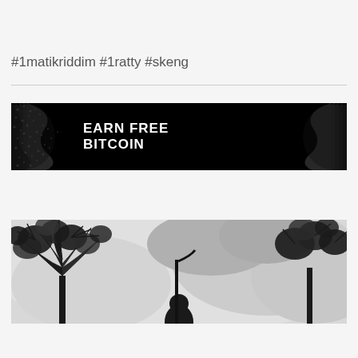#1matikriddim #1ratty #skeng
[Figure (illustration): Black banner advertisement with wavy abstract dark patterns on left and right sides, bold white text reading EARN FREE BITCOIN]
[Figure (photo): Black and white photograph showing trees against a cloudy sky, bottom portion of image visible]